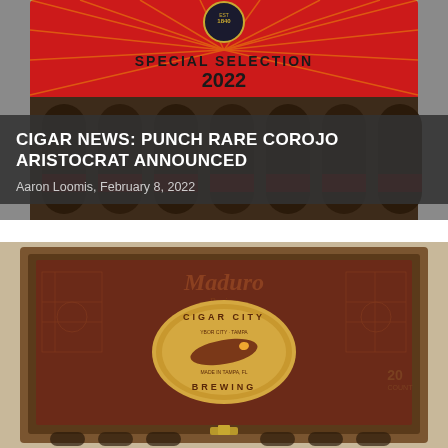[Figure (photo): Open red cigar box labeled 'Special Selection 2022' with dark cigars arranged inside, red starburst pattern on lid interior]
CIGAR NEWS: PUNCH RARE COROJO ARISTOCRAT ANNOUNCED
Aaron Loomis, February 8, 2022
[Figure (photo): Open wooden cigar box with engraved dark red interior showing 'Maduro' text and Cigar City Brewing circular logo, cigars partially visible at bottom]